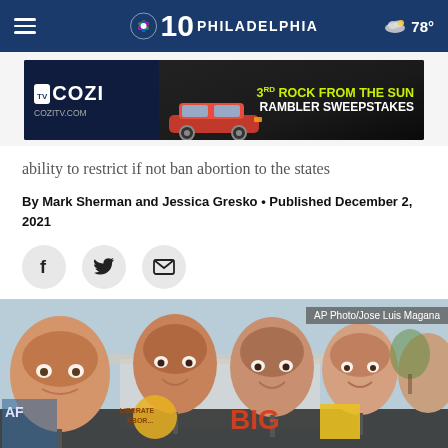NBC 10 Philadelphia — 78°
[Figure (photo): COZI TV advertisement banner for 3rd Rock from the Sun Rambler Sweepstakes]
ability to restrict if not ban abortion to the states
By Mark Sherman and Jessica Gresko • Published December 2, 2021
[Figure (photo): Protesters outside the Supreme Court holding large cutout faces of Supreme Court justices on sticks, with signs including 'Liberate Abortion'. AP Photo/Jose Luis Magana]